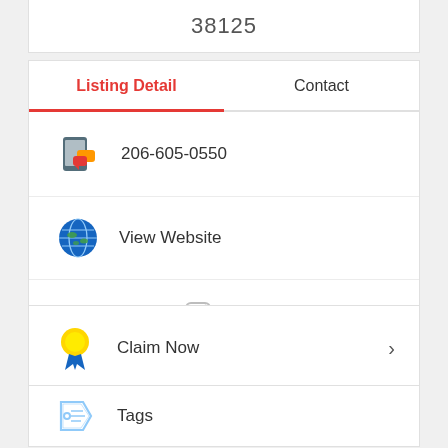38125
Listing Detail
Contact
206-605-0550
View Website
[Figure (infographic): Social media icons: Facebook (f), LinkedIn (in), Instagram (camera icon)]
Claim Now
Tags